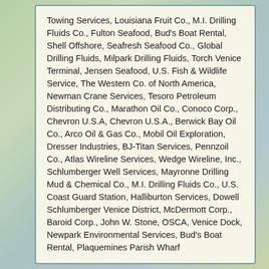Towing Services, Louisiana Fruit Co., M.I. Drilling Fluids Co., Fulton Seafood, Bud's Boat Rental, Shell Offshore, Seafresh Seafood Co., Global Drilling Fluids, Milpark Drilling Fluids, Torch Venice Terminal, Jensen Seafood, U.S. Fish & Wildlife Service, The Western Co. of North America, Newman Crane Services, Tesoro Petroleum Distributing Co., Marathon Oil Co., Conoco Corp., Chevron U.S.A, Chevron U.S.A., Berwick Bay Oil Co., Arco Oil & Gas Co., Mobil Oil Exploration, Dresser Industries, BJ-Titan Services, Pennzoil Co., Atlas Wireline Services, Wedge Wireline, Inc., Schlumberger Well Services, Mayronne Drilling Mud & Chemical Co., M.I. Drilling Fluids Co., U.S. Coast Guard Station, Halliburton Services, Dowell Schlumberger Venice District, McDermott Corp., Baroid Corp., John W. Stone, OSCA, Venice Dock, Newpark Environmental Services, Bud's Boat Rental, Plaquemines Parish Wharf
Tiger Pass
Bear right where Tiger Pass splinters off Grand Pass and paddle one mile to reach the Cypress Cover Marina, an oasis for paddlers and fishermen in the otherwise very industrial Venice waterfront. Look for an opening in the rip-rap bankside to enter this protected harbor.
You could continue down Grand Pass or Tiger Pass to access